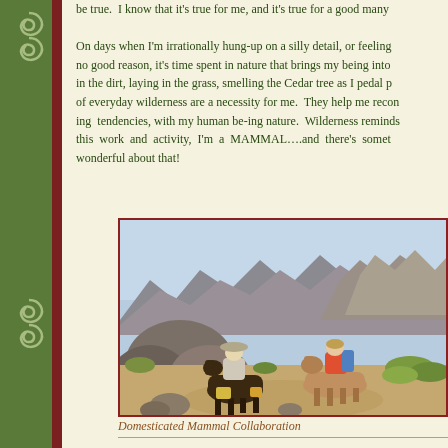be true. I know that it's true for me, and it's true for a good many people I know. On days when I'm irrationally hung-up on a silly detail, or feeling stressed out for no good reason, it's time spent in nature that brings my being into alignment. Playing in the dirt, laying in the grass, smelling the Cedar tree as I pedal past. These bits of everyday wilderness are a necessity for me. They help me reconcile my human do-ing tendencies, with my human be-ing nature. Wilderness reminds me that in spite of this work and activity, I'm a MAMMAL….and there's something profoundly wonderful about that!
[Figure (photo): Two people riding horses through a rocky mountain wilderness landscape with boulders and shrubs]
Domesticated Mammal Collaboration